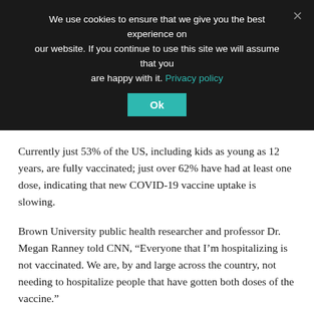We use cookies to ensure that we give you the best experience on our website. If you continue to use this site we will assume that you are happy with it. Privacy policy
Currently just 53% of the US, including kids as young as 12 years, are fully vaccinated; just over 62% have had at least one dose, indicating that new COVID-19 vaccine uptake is slowing.
Brown University public health researcher and professor Dr. Megan Ranney told CNN, “Everyone that I’m hospitalizing is not vaccinated. We are, by and large across the country, not needing to hospitalize people that have gotten both doses of the vaccine.”
FLORIDA DOCTOR WILL REFUSE TO TREAT UNVACCINATED PATIENTS